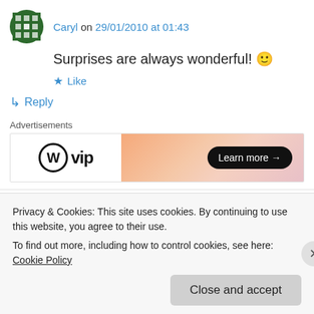Caryl on 29/01/2010 at 01:43
Surprises are always wonderful! 🙂
★ Like
↳ Reply
Advertisements
[Figure (logo): WordPress VIP advertisement banner with 'Learn more →' button on gradient background]
GraceBeading on 29/01/2010 at 02:53
Privacy & Cookies: This site uses cookies. By continuing to use this website, you agree to their use.
To find out more, including how to control cookies, see here: Cookie Policy
Close and accept